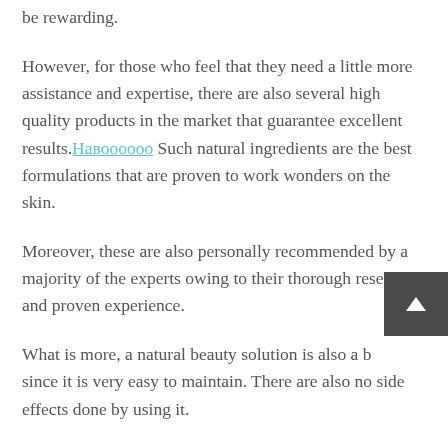be rewarding.
However, for those who feel that they need a little more assistance and expertise, there are also several high quality products in the market that guarantee excellent results. [link: Наvooodoo] Such natural ingredients are the best formulations that are proven to work wonders on the skin.
Moreover, these are also personally recommended by a majority of the experts owing to their thorough research and proven experience.
What is more, a natural beauty solution is also a b[truncated] since it is very easy to maintain. There are also no side effects done by using it.
Beauty products can also be shared with your loved ones. A solution to share beauty goods is also easily